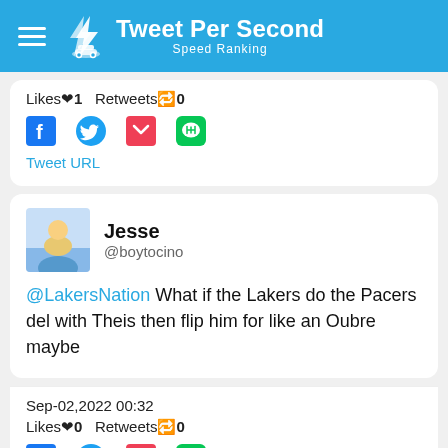Tweet Per Second — Speed Ranking
Likes❤1   Retweets🔁0
Tweet URL
Jesse @boytocino
@LakersNation What if the Lakers do the Pacers del with Theis then flip him for like an Oubre maybe
Sep-02,2022 00:32
Likes❤0   Retweets🔁0
Tweet URL